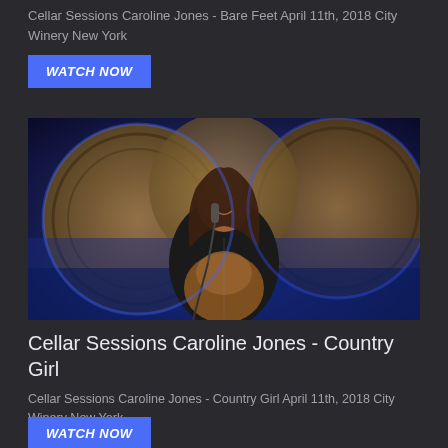Cellar Sessions Caroline Jones - Bare Feet April 11th, 2018 City Winery New York
WATCH NOW
[Figure (photo): A young woman with long brown hair playing acoustic guitar at a microphone, smiling, in front of large wooden wine barrels lit with blue light. Performance at City Winery.]
Cellar Sessions Caroline Jones - Country Girl
Cellar Sessions Caroline Jones - Country Girl April 11th, 2018 City Winery New York
WATCH NOW